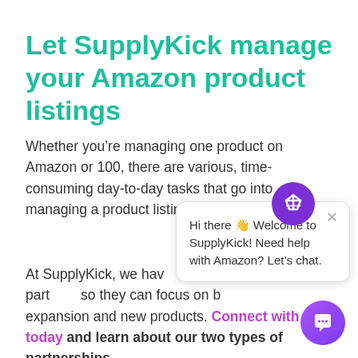Let SupplyKick manage your Amazon product listings
Whether you’re managing one product on Amazon or 100, there are various, time-consuming day-to-day tasks that go into managing a product listing.
At SupplyKick, we have [partially obscured by chat popup] thousands of our part[ners] so they can focus on [b]expansion and new products. Connect with us today and learn about our two types of partnerships.
[Figure (screenshot): Chat popup widget from SupplyKick with purple X icon avatar at top, close X button, and message: 'Hi there 👋 Welcome to SupplyKick! Need help with Amazon? Let’s chat.' A purple chat bubble button appears in bottom right corner.]